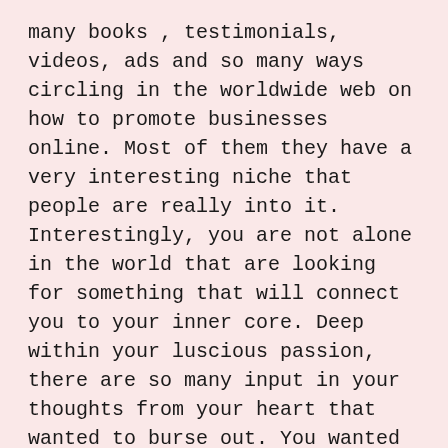many books , testimonials, videos, ads and so many ways circling in the worldwide web on how to promote businesses online. Most of them they have a very interesting niche that people are really into it. Interestingly, you are not alone in the world that are looking for something that will connect you to your inner core. Deep within your luscious passion, there are so many input in your thoughts from your heart that wanted to burse out. You wanted to tell the world that you have a voice inside of you that you want other people to listen too.

Good news is, today is the day! If you are reading my blog and you wanted to be heard, but you are so shy. Why not start to get a pen and draft your life into it. Put your words of thoughts into action. Have you ever heard the saying, “Pen is mightier than sword.”? To act on your passion will definitely reward you one at a